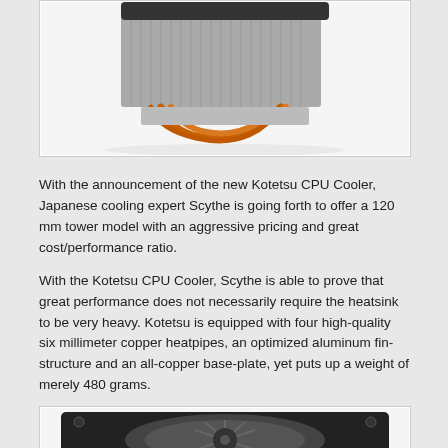[Figure (photo): Photo of a Kotetsu CPU cooler heatsink with copper heatpipes and fan, viewed from below on a white background.]
With the announcement of the new Kotetsu CPU Cooler, Japanese cooling expert Scythe is going forth to offer a 120 mm tower model with an aggressive pricing and great cost/performance ratio.
With the Kotetsu CPU Cooler, Scythe is able to prove that great performance does not necessarily require the heatsink to be very heavy. Kotetsu is equipped with four high-quality six millimeter copper heatpipes, an optimized aluminum fin-structure and an all-copper base-plate, yet puts up a weight of merely 480 grams.
[Figure (photo): Photo of the Kotetsu CPU cooler fan viewed from the front, showing black fan blades and frame on white background.]